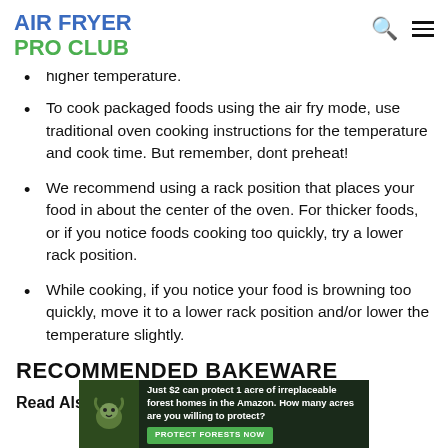AIR FRYER PRO CLUB
higher temperature.
To cook packaged foods using the air fry mode, use traditional oven cooking instructions for the temperature and cook time. But remember, dont preheat!
We recommend using a rack position that places your food in about the center of the oven. For thicker foods, or if you notice foods cooking too quickly, try a lower rack position.
While cooking, if you notice your food is browning too quickly, move it to a lower rack position and/or lower the temperature slightly.
RECOMMENDED BAKEWARE
Read Also: Test Kitchen Air Fryer Cookbook
[Figure (other): Advertisement banner: Just $2 can protect 1 acre of irreplaceable forest homes in the Amazon. How many acres are you willing to protect? PROTECT FORESTS NOW]